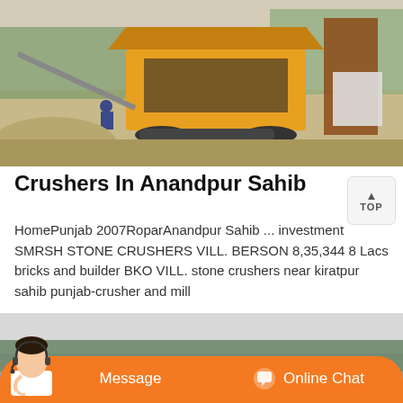[Figure (photo): Outdoor industrial stone crusher plant with yellow heavy machinery, conveyor belts, piles of gravel and sand, trees in background]
Crushers In Anandpur Sahib
HomePunjab 2007RoparAnandpur Sahib ... investment SMRSH STONE CRUSHERS VILL. BERSON 8,35,344 8 Lacs bricks and builder BKO VILL. stone crushers near kiratpur sahib punjab-crusher and mill
[Figure (photo): Partial view of outdoor industrial area with trees in background, partially obscured by chat bar overlay]
Message   Online Chat